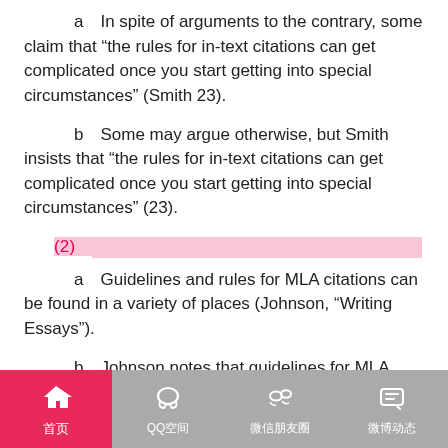a　In spite of arguments to the contrary, some claim that “the rules for in-text citations can get complicated once you start getting into special circumstances” (Smith 23).
b　Some may argue otherwise, but Smith insists that “the rules for in-text citations can get complicated once you start getting into special circumstances” (23).
(2)
a　Guidelines and rules for MLA citations can be found in a variety of places (Johnson, “Writing Essays”).
b　Johnson notes that guidelines for MLA citations can be found in many places (“Writing Essays”).
(3)　　　　　　　　　　　　　　　　　 [3]